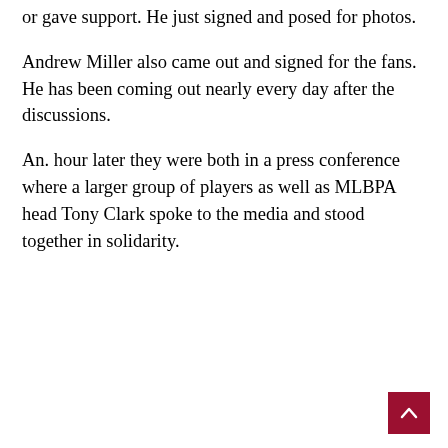or gave support. He just signed and posed for photos.
Andrew Miller also came out and signed for the fans. He has been coming out nearly every day after the discussions.
An. hour later they were both in a press conference where a larger group of players as well as MLBPA head Tony Clark spoke to the media and stood together in solidarity.